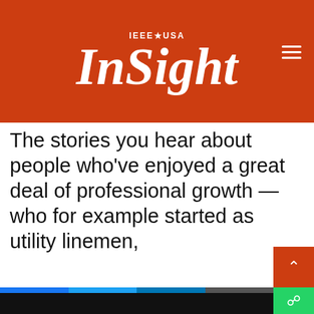IEEE★USA InSight
The stories you hear about people who've enjoyed a great deal of professional growth — who for example started as utility linemen,
[Figure (screenshot): Cookie consent overlay with text: IEEE websites place cookies on your device to give you the best user experience. By using our websites, you agree to the placement of these cookies. To learn more, read our Privacy Policy. With Accept & Close button.]
being
Share bar with Facebook, Twitter, LinkedIn, Email icons